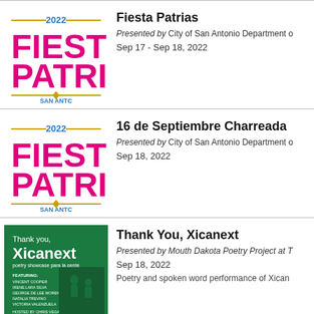[Figure (logo): 2022 Fiesta Patrias San Antonio logo with pink text on white background]
Fiesta Patrias
Presented by City of San Antonio Department o...
Sep 17 - Sep 18, 2022
[Figure (logo): 2022 Fiesta Patrias San Antonio logo with pink text on white background]
16 de Septiembre Charreada
Presented by City of San Antonio Department o...
Sep 18, 2022
[Figure (photo): Thank You Xicanext poetry event poster with green background and dark green illustration]
Thank You, Xicanext
Presented by Mouth Dakota Poetry Project at T...
Sep 18, 2022
Poetry and spoken word performance of Xican...